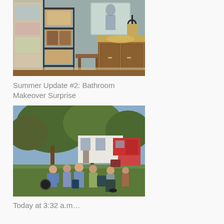[Figure (photo): Bathroom interior photo showing a metal shelving unit with baskets and wood pieces near a patterned shower curtain on the left, and a wooden vanity with a mirror and towel ring on the right, set against a light blue-grey wall.]
Summer Update #2: Bathroom Makeover Surprise
[Figure (photo): Outdoor photo of a group of people on a grassy lawn carrying luggage and bags, with large trees and a white house visible in the background, and cars parked nearby.]
Today at 3:32 a.m…